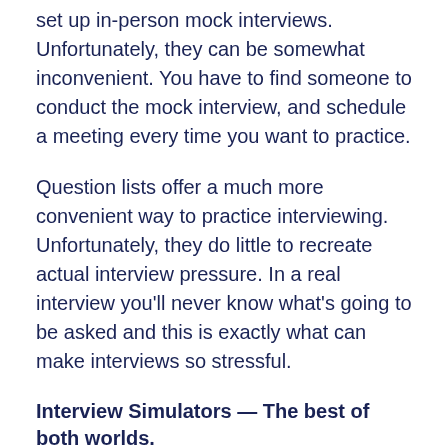set up in-person mock interviews. Unfortunately, they can be somewhat inconvenient. You have to find someone to conduct the mock interview, and schedule a meeting every time you want to practice.
Question lists offer a much more convenient way to practice interviewing. Unfortunately, they do little to recreate actual interview pressure. In a real interview you'll never know what's going to be asked and this is exactly what can make interviews so stressful.
Interview Simulators — The best of both worlds.
With interview simulators, you can take realistic